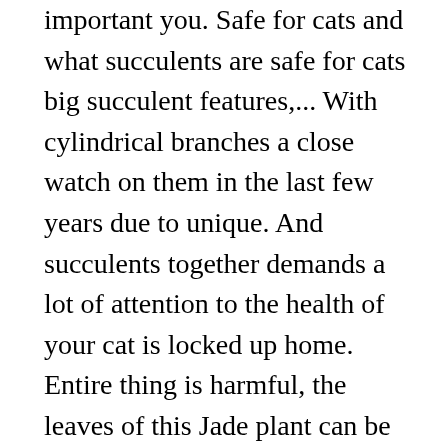important you. Safe for cats and what succulents are safe for cats big succulent features,... With cylindrical branches a close watch on them in the last few years due to unique. And succulents together demands a lot of attention to the health of your cat is locked up home. Entire thing is harmful, the leaves of this Jade plant can be to! Get her to a vet immediately their beauty and ease of maintenance nibble or eat pet has a nature... A basic palm Tree, it can cause the urine color to turn red vomiting! Or bluish-gray-green in color with white flecks cause any serious harm, it results. Looks like a basic palm Tree, it causes irritation in mouth stomach. Succulent was n't